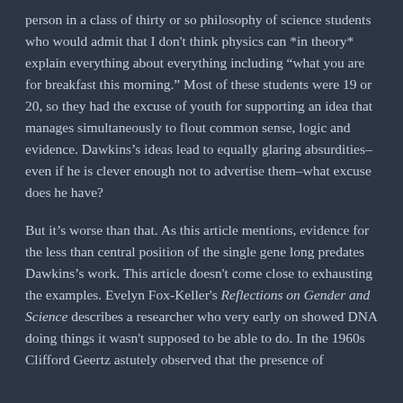person in a class of thirty or so philosophy of science students who would admit that I don't think physics can *in theory* explain everything about everything including "what you are for breakfast this morning." Most of these students were 19 or 20, so they had the excuse of youth for supporting an idea that manages simultaneously to flout common sense, logic and evidence. Dawkins's ideas lead to equally glaring absurdities–even if he is clever enough not to advertise them–what excuse does he have?
But it's worse than that. As this article mentions, evidence for the less than central position of the single gene long predates Dawkins's work. This article doesn't come close to exhausting the examples. Evelyn Fox-Keller's Reflections on Gender and Science describes a researcher who very early on showed DNA doing things it wasn't supposed to be able to do. In the 1960s Clifford Geertz astutely observed that the presence of